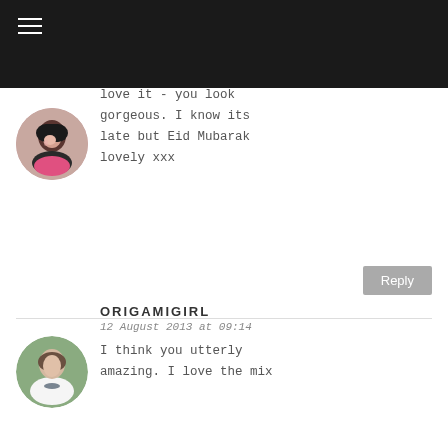ALETHAISLAN
11 August 2013 at 22:00
This is fab - such a fun mix of west and east. I love it - you look gorgeous. I know its late but Eid Mubarak lovely xxx
Reply
ORIGAMIGIRL
12 August 2013 at 09:14
I think you utterly amazing. I love the mix